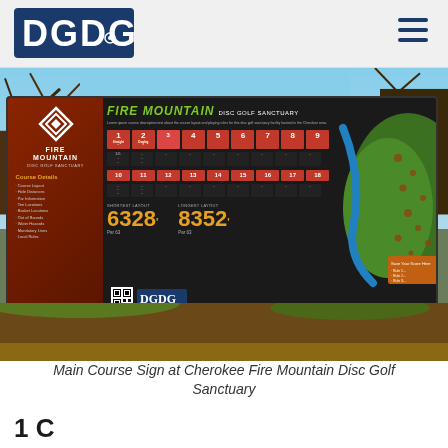DGDG
[Figure (photo): Main Course Sign at Cherokee Fire Mountain Disc Golf Sanctuary — a large outdoor signboard showing Fire Mountain Disc Golf Sanctuary with course layout map, hole information table showing 18 holes, shortest layout 6328 Par 63, longest layout 8352 Par 63, mounted on wooden posts outdoors surrounded by trees]
Main Course Sign at Cherokee Fire Mountain Disc Golf Sanctuary
1 C